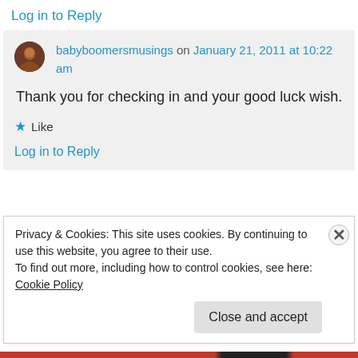Log in to Reply
babyboomersmusings on January 21, 2011 at 10:22 am
Thank you for checking in and your good luck wish.
★ Like
Log in to Reply
Privacy & Cookies: This site uses cookies. By continuing to use this website, you agree to their use.
To find out more, including how to control cookies, see here: Cookie Policy
Close and accept